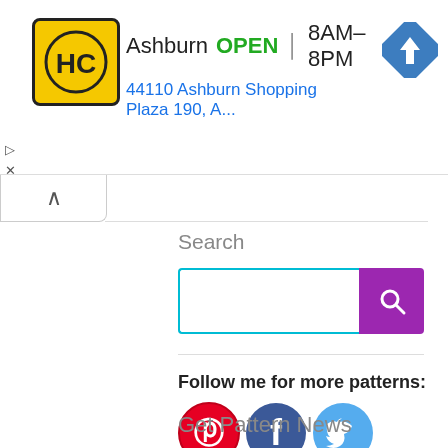[Figure (screenshot): Advertisement banner for Haircut place in Ashburn with HC logo, showing OPEN status 8AM-8PM, address 44110 Ashburn Shopping Plaza 190, A..., with navigation icon]
Search
[Figure (screenshot): Search input box with teal border and purple search button]
Follow me for more patterns:
[Figure (infographic): Pinterest, Facebook, and Twitter social media icons]
Get Pattern News